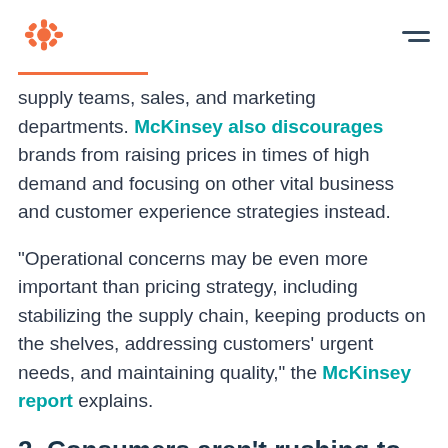HubSpot logo and hamburger menu
supply teams, sales, and marketing departments. McKinsey also discourages brands from raising prices in times of high demand and focusing on other vital business and customer experience strategies instead.
"Operational concerns may be even more important than pricing strategy, including stabilizing the supply chain, keeping products on the shelves, addressing customers’ urgent needs, and maintaining quality," the McKinsey report explains.
2. Consumers aren’t rushing to grab their wallets.